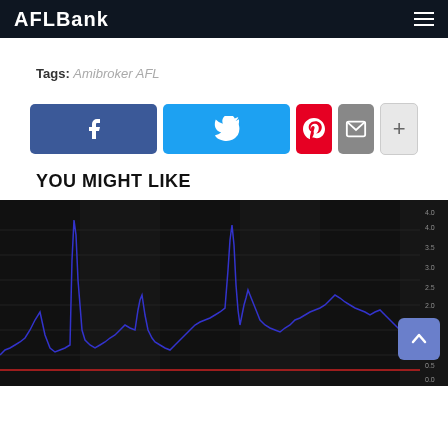AFLBank
Tags: Amibroker AFL
[Figure (infographic): Social sharing buttons: Facebook (blue), Twitter (cyan), Pinterest (red), Email (grey), More (light grey)]
YOU MIGHT LIKE
[Figure (continuous-plot): Dark background line chart showing a blue volatile line with multiple spikes, a red horizontal baseline near the bottom, and y-axis labels on the right side. Represents financial indicator data.]